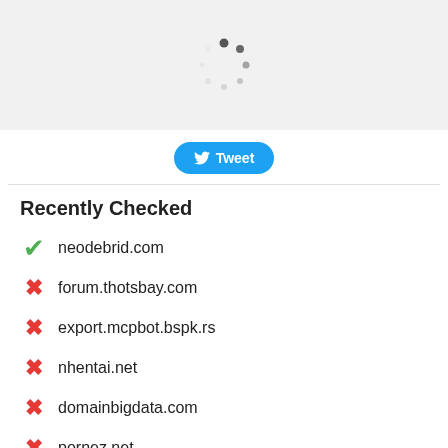[Figure (screenshot): Loading spinner (circular dots in gray on light gray background)]
[Figure (screenshot): Blue Twitter Tweet button with bird icon]
Recently Checked
✓ neodebrid.com
✗ forum.thotsbay.com
✗ export.mcpbot.bspk.rs
✗ nhentai.net
✗ domainbigdata.com
✗ pornez.net